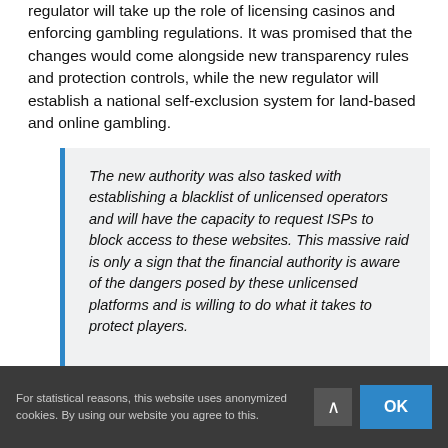regulator will take up the role of licensing casinos and enforcing gambling regulations. It was promised that the changes would come alongside new transparency rules and protection controls, while the new regulator will establish a national self-exclusion system for land-based and online gambling.
The new authority was also tasked with establishing a blacklist of unlicensed operators and will have the capacity to request ISPs to block access to these websites. This massive raid is only a sign that the financial authority is aware of the dangers posed by these unlicensed platforms and is willing to do what it takes to protect players.
For statistical reasons, this website uses anonymized cookies. By using our website you agree to this.